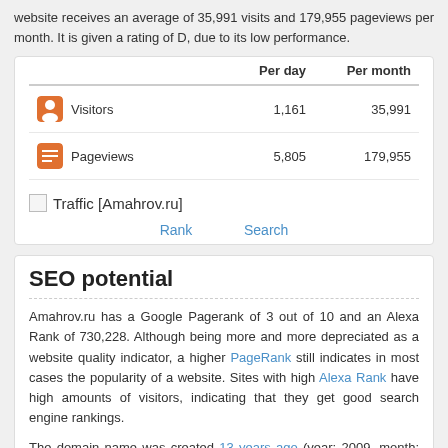website receives an average of 35,991 visits and 179,955 pageviews per month. It is given a rating of D, due to its low performance.
|  | Per day | Per month |
| --- | --- | --- |
| Visitors | 1,161 | 35,991 |
| Pageviews | 5,805 | 179,955 |
Traffic [Amahrov.ru]
Rank   Search
SEO potential
Amahrov.ru has a Google Pagerank of 3 out of 10 and an Alexa Rank of 730,228. Although being more and more depreciated as a website quality indicator, a higher PageRank still indicates in most cases the popularity of a website. Sites with high Alexa Rank have high amounts of visitors, indicating that they get good search engine rankings.
The domain name was created 13 years ago (year: 2009, month: 05, day: 28) and has a length of 7 characters. Search engines algorithm gives more credibility and authority to websites whose domain name has been registered for a long time and is still in use (but not parked).